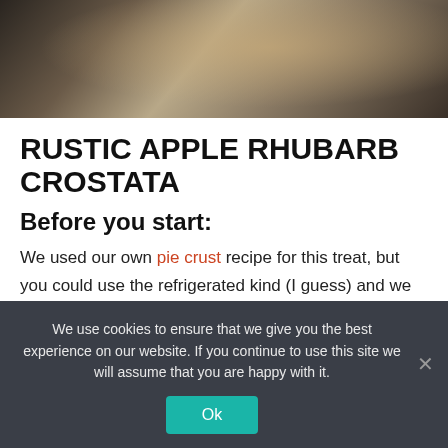[Figure (photo): Close-up photo of a pie or crostata, showing pastry dough in dark tones with metallic reflections, partially cropped at top of page.]
RUSTIC APPLE RHUBARB CROSTATA
Before you start:
We used our own pie crust recipe for this treat, but you could use the refrigerated kind (I guess) and we won't judge. OK… maybe a little, but here's the thing. Pie crust is really easier to make than many think. If
We use cookies to ensure that we give you the best experience on our website. If you continue to use this site we will assume that you are happy with it.